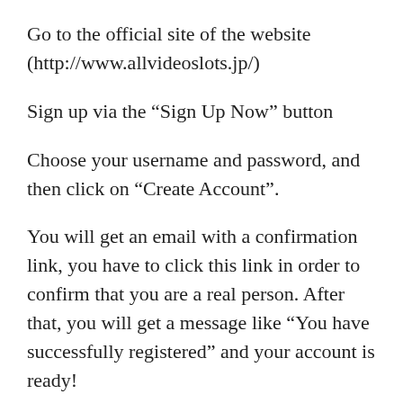Go to the official site of the website (http://www.allvideoslots.jp/)
Sign up via the “Sign Up Now” button
Choose your username and password, and then click on “Create Account”.
You will get an email with a confirmation link, you have to click this link in order to confirm that you are a real person. After that, you will get a message like “You have successfully registered” and your account is ready!
By the way, please be aware that you need to verify your email address and your account before you can pay for